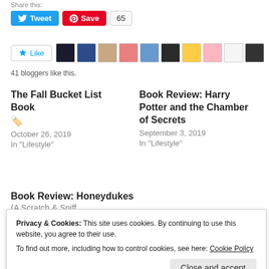Share this:
[Figure (screenshot): Social sharing buttons: Tweet (blue), Save (red Pinterest), and count badge showing 65]
[Figure (screenshot): Like button with star icon and a strip of 10 blogger avatar thumbnails]
41 bloggers like this.
The Fall Bucket List Book 🏷️
October 26, 2019
In "Lifestyle"
Book Review: Harry Potter and the Chamber of Secrets
September 3, 2019
In "Lifestyle"
Book Review: Honeydukes
(A Scratch & Sniff
Privacy & Cookies: This site uses cookies. By continuing to use this website, you agree to their use.
To find out more, including how to control cookies, see here: Cookie Policy
Close and accept